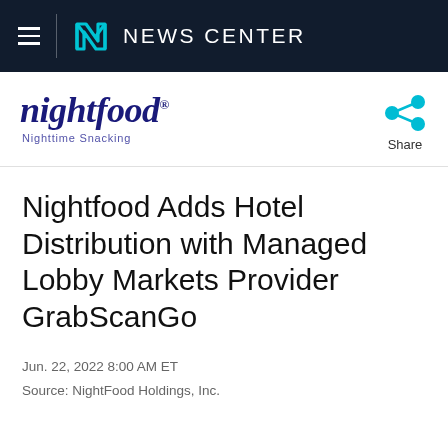NEWS CENTER
[Figure (logo): Nightfood logo with tagline 'Nighttime Snacking']
[Figure (infographic): Share icon (teal share/network icon)]
Nightfood Adds Hotel Distribution with Managed Lobby Markets Provider GrabScanGo
Jun. 22, 2022 8:00 AM ET
Source: NightFood Holdings, Inc.